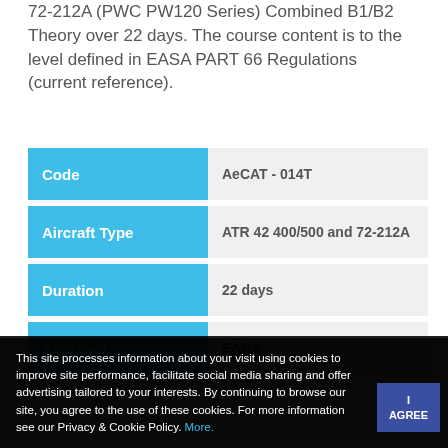72-212A (PWC PW120 Series) Combined B1/B2 Theory over 22 days. The course content is to the level defined in EASA PART 66 Regulations (current reference).
|  |  |
| --- | --- |
| Code | AeCAT - 014T |
| Aircraft Type | ATR 42 400/500 and 72-212A |
| Duration | 22 days |
| Approval | EASA |
This site processes information about your visit using cookies to improve site performance, facilitate social media sharing and offer advertising tailored to your interests. By continuing to browse our site, you agree to the use of these cookies. For more information see our Privacy & Cookie Policy. More.